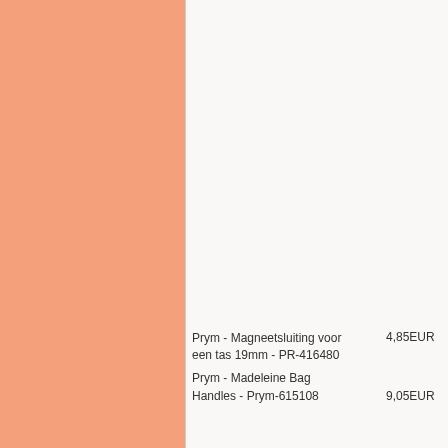[Figure (other): Salmon/peach colored decorative left panel]
Prym - Madeleine Bag Handles - Prym-615108
9,05EUR
Prym - Magneetsluiting voor een tas 19mm - PR-416480
4,85EUR